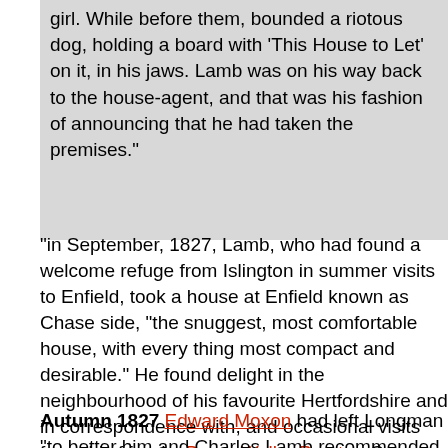girl. While before them, bounded a riotous dog, holding a board with 'This House to Let' on it, in his jaws. Lamb was on his way back to the house-agent, and that was his fashion of announcing that he had taken the premises."
"in September, 1827, Lamb, who had found a welcome refuge from Islington in summer visits to Enfield, took a house at Enfield known as Chase side, "the snuggest, most comfortable house, with every thing most compact and desirable." He found delight in the neighbourhood of his favourite Hertfordshire and in correspondence with, and occasional visits from, his friends. Bryan Waller Procter, George Darley, Talfourd, Vincent Novello and Henry Crabb Robinson are among those who shared his intimacy at this time, with Walter Wilson, the biographer of Defoe, and others with whom his friendship had ripened during his later residence in London. Occasionally, he went to London to draw his pension. Once, he dined at Talfourd's to meet Wordsworth, always his idol among contemporary poets" Cambridge History
Autumn 1827 Edward Moxon had left Longman "to better him" and Charles Lamb recommended him to Henry Colburn as "a of the highest integrity, and other maker of books"